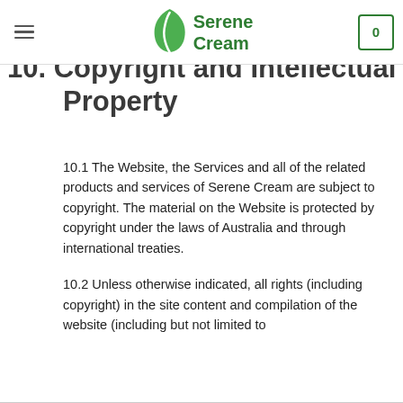Serene Cream
10. Copyright and Intellectual Property
10.1 The Website, the Services and all of the related products and services of Serene Cream are subject to copyright. The material on the Website is protected by copyright under the laws of Australia and through international treaties.
10.2 Unless otherwise indicated, all rights (including copyright) in the site content and compilation of the website (including but not limited to